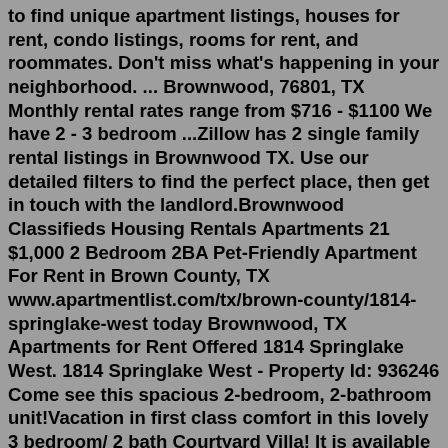to find unique apartment listings, houses for rent, condo listings, rooms for rent, and roommates. Don't miss what's happening in your neighborhood. ... Brownwood, 76801, TX Monthly rental rates range from $716 - $1100 We have 2 - 3 bedroom ...Zillow has 2 single family rental listings in Brownwood TX. Use our detailed filters to find the perfect place, then get in touch with the landlord.Brownwood Classifieds Housing Rentals Apartments 21 $1,000 2 Bedroom 2BA Pet-Friendly Apartment For Rent in Brown County, TX www.apartmentlist.com/tx/brown-county/1814-springlake-west today Brownwood, TX Apartments for Rent Offered 1814 Springlake West. 1814 Springlake West - Property Id: 936246 Come see this spacious 2-bedroom, 2-bathroom unit!Vacation in first class comfort in this lovely 3 bedroom/ 2 bath Courtyard Villa! It is available next June 2022-May 2023. $2500/mo. Antrim Dells residents enjoy living in a unique neighborhood just a 5 minute cart ride or 10 minute walk from shopping & dining in beautiful Brownwood Paddock Square. This exclusive